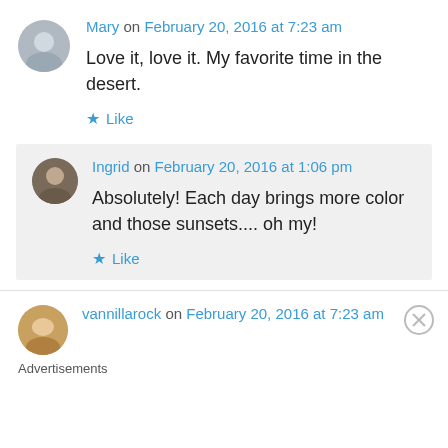Mary on February 20, 2016 at 7:23 am
Love it, love it. My favorite time in the desert.
★ Like
Ingrid on February 20, 2016 at 1:06 pm
Absolutely! Each day brings more color and those sunsets.... oh my!
★ Like
vannillarock on February 20, 2016 at 7:23 am
Advertisements